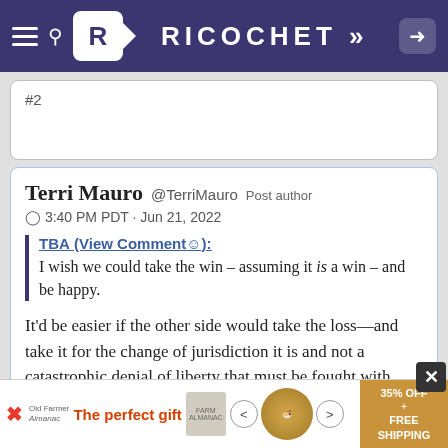RICOCHET >>
#2
Terri Mauro @TerriMauro Post author
3:40 PM PDT · Jun 21, 2022
TBA (View Comment☺): I wish we could take the win – assuming it is a win – and be happy.
It'd be easier if the other side would take the loss—and take it for the change of jurisdiction it is and not a catastrophic denial of liberty that must be fought with firebombs and spite.
[Figure (screenshot): Advertisement banner: The perfect gift, 35% OFF + FREE SHIPPING]